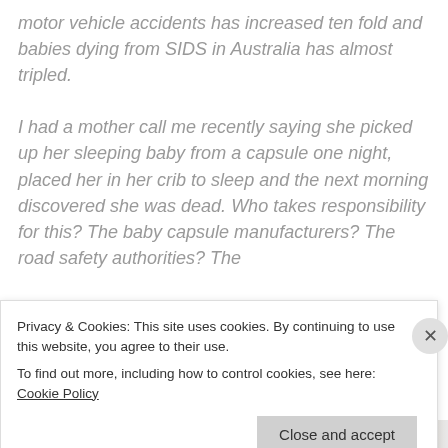motor vehicle accidents has increased ten fold and babies dying from SIDS in Australia has almost tripled.

I had a mother call me recently saying she picked up her sleeping baby from a capsule one night, placed her in her crib to sleep and the next morning discovered she was dead. Who takes responsibility for this? The baby capsule manufacturers? The road safety authorities? The
Privacy & Cookies: This site uses cookies. By continuing to use this website, you agree to their use. To find out more, including how to control cookies, see here: Cookie Policy
Close and accept